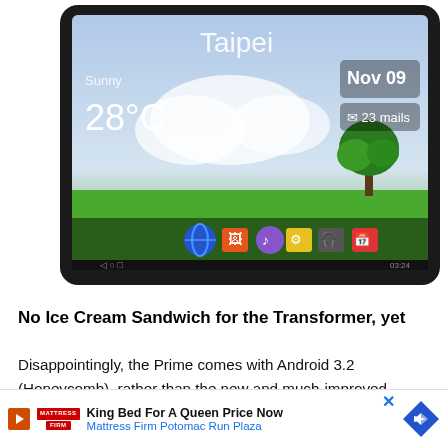[Figure (photo): ASUS Transformer Prime tablet shown from a slight angle, displaying an Android home screen with a Taipei weather widget showing 28°C, Sunny, Nov 09, and app icons including browser, photo, social apps. The screen shows a green landscape with sky background.]
No Ice Cream Sandwich for the Transformer, yet
Disappointingly, the Prime comes with Android 3.2 (Honeycomb), rather than the new and much-improved Android 4.0 (Ice Cream Sandwich) operating system, which is now available on the Samsung Galaxy Nexus smartphone. You could speculate that the modifications to An...tion are th...e
[Figure (infographic): Advertisement banner: Mattress Firm ad reading 'King Bed For A Queen Price Now' with Mattress Firm Potomac Run Plaza subtitle, showing Mattress Firm logo, a play button icon, an X close button, and a blue diamond navigation arrow.]